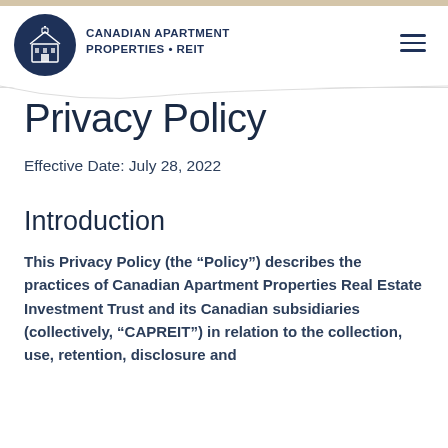CANADIAN APARTMENT PROPERTIES • REIT
Privacy Policy
Effective Date: July 28, 2022
Introduction
This Privacy Policy (the “Policy”) describes the practices of Canadian Apartment Properties Real Estate Investment Trust and its Canadian subsidiaries (collectively, “CAPREIT”) in relation to the collection, use, retention, disclosure and